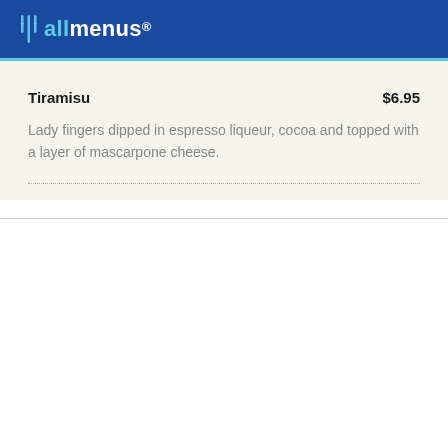allmenus
Tiramisu  $6.95
Lady fingers dipped in espresso liqueur, cocoa and topped with a layer of mascarpone cheese.